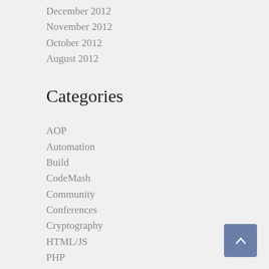December 2012
November 2012
October 2012
August 2012
Categories
AOP
Automation
Build
CodeMash
Community
Conferences
Cryptography
HTML/JS
PHP
Presentations
Security